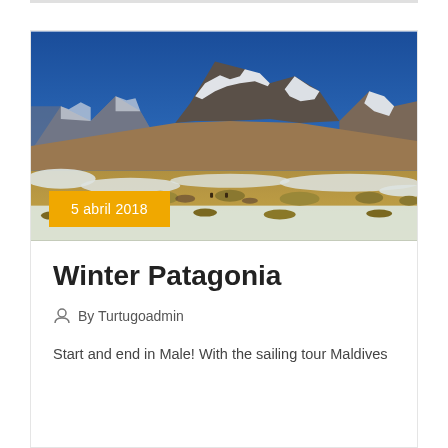[Figure (photo): Patagonia winter landscape with snow-capped mountains, golden grasslands partially covered with snow, and a deep blue sky. A date badge reading '5 abril 2018' overlays the lower-left of the image.]
Winter Patagonia
By Turtugoadmin
Start and end in Male! With the sailing tour Maldives